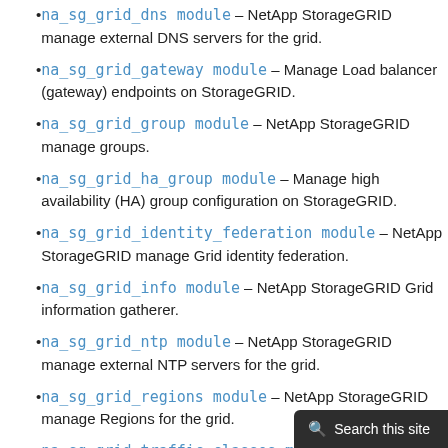na_sg_grid_dns module – NetApp StorageGRID manage external DNS servers for the grid.
na_sg_grid_gateway module – Manage Load balancer (gateway) endpoints on StorageGRID.
na_sg_grid_group module – NetApp StorageGRID manage groups.
na_sg_grid_ha_group module – Manage high availability (HA) group configuration on StorageGRID.
na_sg_grid_identity_federation module – NetApp StorageGRID manage Grid identity federation.
na_sg_grid_info module – NetApp StorageGRID Grid information gatherer.
na_sg_grid_ntp module – NetApp StorageGRID manage external NTP servers for the grid.
na_sg_grid_regions module – NetApp StorageGRID manage Regions for the grid.
na_sg_grid_traffic_classes module – Manage Traffic Classification Policy configuration on StorageGRID.